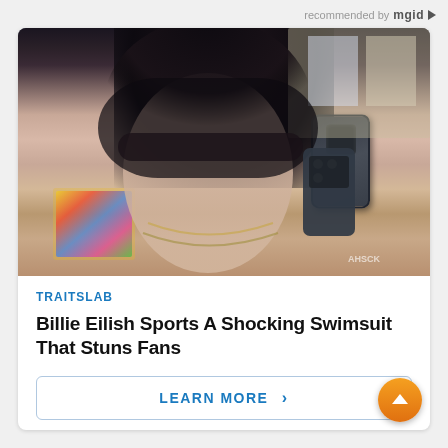recommended by mgid
[Figure (photo): A person with dark hair and bangs taking a mirror selfie with a smartphone, wearing a chain necklace and light-colored top, with colorful wall art visible in the background]
TRAITSLAB
Billie Eilish Sports A Shocking Swimsuit That Stuns Fans
LEARN MORE >